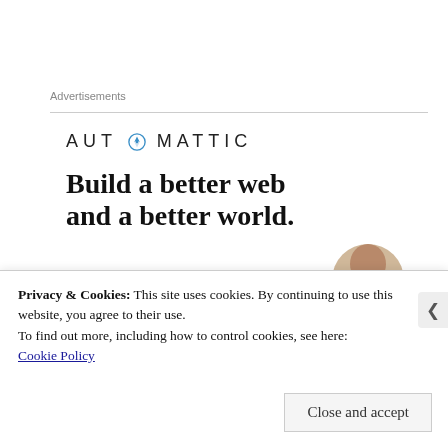Advertisements
[Figure (logo): Automattic logo with compass icon inside the letter O, text in spaced uppercase sans-serif]
Build a better web and a better world.
[Figure (photo): Cropped photo of a man wearing glasses, looking up and to the right, against a light grey semicircular background]
Apply
Privacy & Cookies: This site uses cookies. By continuing to use this website, you agree to their use.
To find out more, including how to control cookies, see here:
Cookie Policy
Close and accept